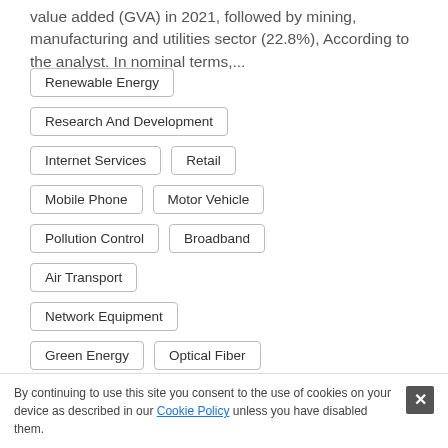value added (GVA) in 2021, followed by mining, manufacturing and utilities sector (22.8%), According to the analyst. In nominal terms,...
Renewable Energy
Research And Development
Internet Services
Retail
Mobile Phone
Motor Vehicle
Pollution Control
Broadband
Air Transport
Network Equipment
Green Energy
Optical Fiber
Japan
By continuing to use this site you consent to the use of cookies on your device as described in our Cookie Policy unless you have disabled them.